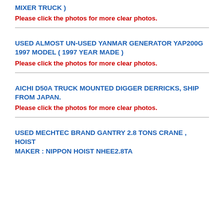MIXER TRUCK )
Please click the photos for more clear photos.
USED ALMOST UN-USED YANMAR GENERATOR YAP200G 1997 MODEL ( 1997 YEAR MADE )
Please click the photos for more clear photos.
AICHI D50A TRUCK MOUNTED DIGGER DERRICKS, SHIP FROM JAPAN.
Please click the photos for more clear photos.
USED MECHTEC BRAND GANTRY 2.8 TONS CRANE , HOIST MAKER : NIPPON HOIST NHEE2.8TA